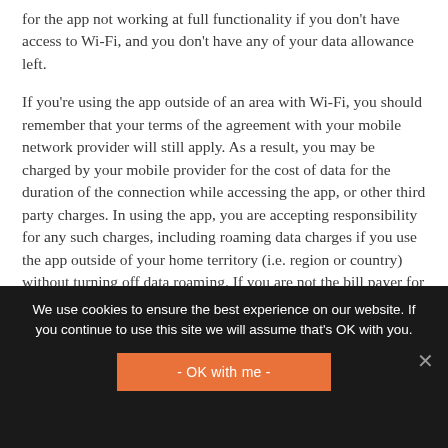for the app not working at full functionality if you don't have access to Wi-Fi, and you don't have any of your data allowance left.
If you're using the app outside of an area with Wi-Fi, you should remember that your terms of the agreement with your mobile network provider will still apply. As a result, you may be charged by your mobile provider for the cost of data for the duration of the connection while accessing the app, or other third party charges. In using the app, you are accepting responsibility for any such charges, including roaming data charges if you use the app outside of your home territory (i.e. region or country) without turning off data roaming. If you are not the bill payer for the device on which you're using the app, please be aware that we assume that you have received permission from the bill payer for using the app.
We use cookies to ensure the best experience on our website. If you continue to use this site we will assume that's OK with you.
- OK with me -